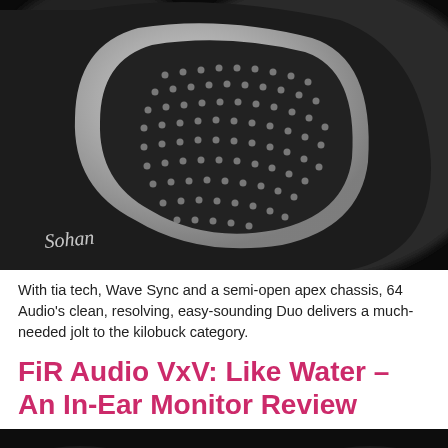[Figure (photo): Close-up macro photograph of a headphone driver/earphone with a silver mesh grille in a triangular shape against a dark background. A cursive signature watermark 'Sohan' appears in the lower left.]
With tia tech, Wave Sync and a semi-open apex chassis, 64 Audio's clean, resolving, easy-sounding Duo delivers a much-needed jolt to the kilobuck category.
FiR Audio VxV: Like Water – An In-Ear Monitor Review
[Figure (photo): Partial view of an in-ear monitor (IEM) earphone with a gold/amber colored component, photographed against a dark background. Only the top portion is visible as the image is cut off at the bottom of the page.]